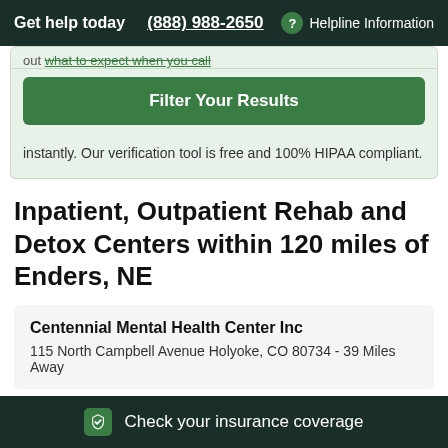Get help today  (888) 988-2650  Helpline Information
out what to expect when you call
Filter Your Results
instantly. Our verification tool is free and 100% HIPAA compliant.
Inpatient, Outpatient Rehab and Detox Centers within 120 miles of Enders, NE
Centennial Mental Health Center Inc
115 North Campbell Avenue Holyoke, CO 80734 - 39 Miles Away
Check your insurance coverage